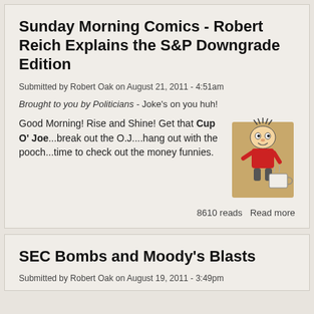Sunday Morning Comics - Robert Reich Explains the S&P Downgrade Edition
Submitted by Robert Oak on August 21, 2011 - 4:51am
Brought to you by Politicians - Joke's on you huh!
Good Morning! Rise and Shine! Get that Cup O' Joe...break out the O.J....hang out with the pooch...time to check out the money funnies.
[Figure (illustration): Cartoon character of a person wearing red sitting on or near a large cup, with spiky hair and an energetic pose]
8610 reads  Read more
SEC Bombs and Moody's Blasts
Submitted by Robert Oak on August 19, 2011 - 3:49pm